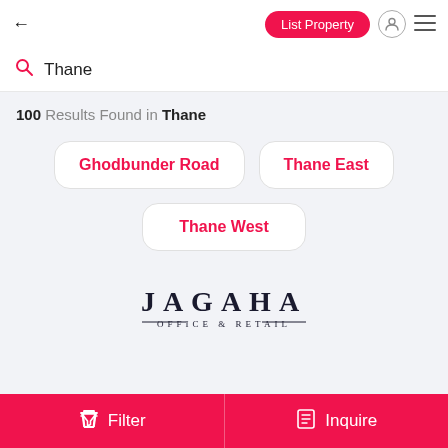← List Property
Thane
100 Results Found in Thane
Ghodbunder Road
Thane East
Thane West
[Figure (logo): JAGAHA OFFICE & RETAIL logo in dark serif font with decorative lines]
Filter    Inquire